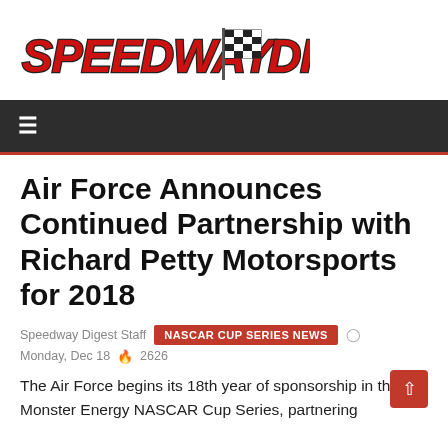[Figure (logo): Speedway Digest logo with checkered flag graphic, red and black stylized text]
≡
Air Force Announces Continued Partnership with Richard Petty Motorsports for 2018
Speedway Digest Staff   NASCAR CUP SERIES NEWS   ⊙
Monday, Dec 18   🔥 2626
The Air Force begins its 18th year of sponsorship in the Monster Energy NASCAR Cup Series, partnering